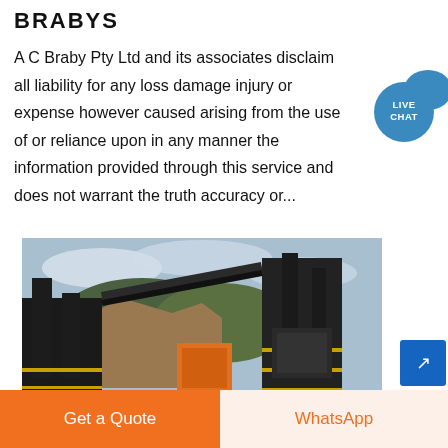BRABYS
A C Braby Pty Ltd and its associates disclaim all liability for any loss damage injury or expense however caused arising from the use of or reliance upon in any manner the information provided through this service and does not warrant the truth accuracy or...
[Figure (photo): Industrial quarry or mining processing plant with large steel structures, conveyor belts, yellow safety railings, and rocky terrain in background]
Get a Quote
WhatsApp